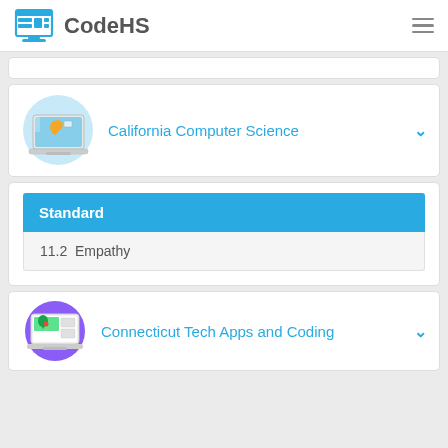CodeHS
[Figure (screenshot): Partially visible white card at top of content area]
[Figure (illustration): Laptop icon with California map silhouette for California Computer Science course]
California Computer Science
Standard
11.2  Empathy
[Figure (illustration): Icon for Connecticut Tech Apps and Coding showing a green map pin/marker on a laptop screen]
Connecticut Tech Apps and Coding